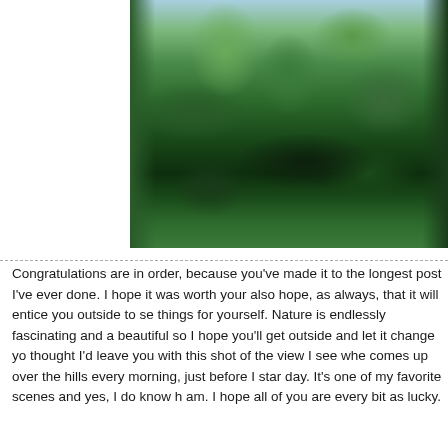[Figure (photo): A photograph of a dense green forest with tall trees and thick foliage, photographed during daytime with a partially cloudy sky visible at the top.]
Congratulations are in order, because you've made it to the longest post I've ever done. I hope it was worth your also hope, as always, that it will entice you outside to se things for yourself. Nature is endlessly fascinating and a beautiful so I hope you'll get outside and let it change yo thought I'd leave you with this shot of the view I see whe comes up over the hills every morning, just before I star day. It's one of my favorite scenes and yes, I do know h am. I hope all of you are every bit as lucky.